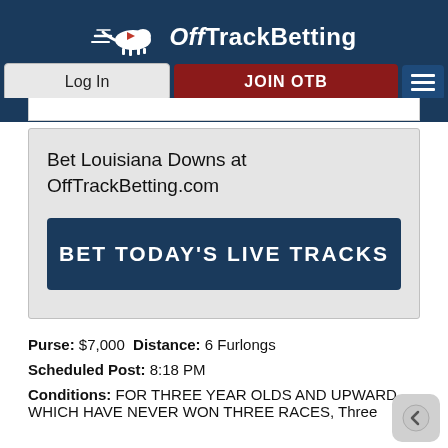OffTrackBetting
Bet Louisiana Downs at OffTrackBetting.com
BET TODAY'S LIVE TRACKS
Purse: $7,000 Distance: 6 Furlongs
Scheduled Post: 8:18 PM
Conditions: FOR THREE YEAR OLDS AND UPWARD WHICH HAVE NEVER WON THREE RACES, Three